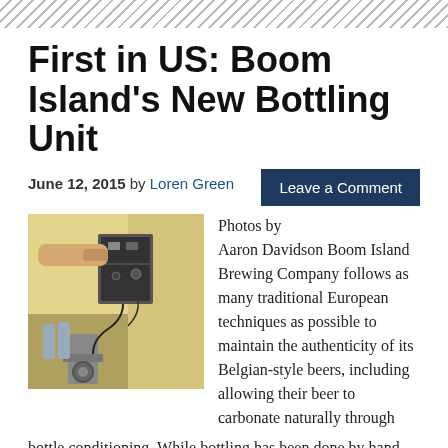First in US: Boom Island's New Bottling Unit
June 12, 2015 by Loren Green
Leave a Comment
[Figure (photo): Photo of brewery bottling equipment with a person operating machinery]
Photos by Aaron Davidson Boom Island Brewing Company follows as many traditional European techniques as possible to maintain the authenticity of its Belgian-style beers, including allowing their beer to carbonate naturally through bottle conditioning. While bottling has been done by hand for the three years Boom Island has been in operation, the brewery is now … [ Read more]